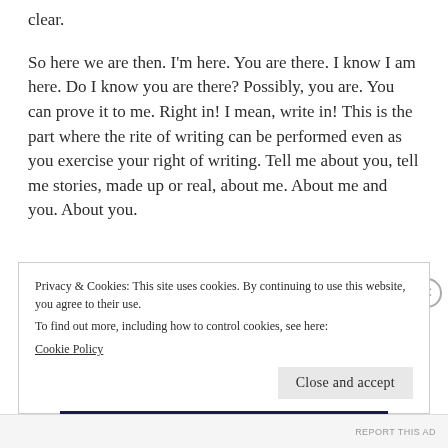clear.
So here we are then. I'm here. You are there. I know I am here. Do I know you are there? Possibly, you are. You can prove it to me. Right in! I mean, write in! This is the part where the rite of writing can be performed even as you exercise your right of writing. Tell me about you, tell me stories, made up or real, about me. About me and you. About you.
Privacy & Cookies: This site uses cookies. By continuing to use this website, you agree to their use.
To find out more, including how to control cookies, see here:
Cookie Policy
Close and accept
REPORT THIS AD